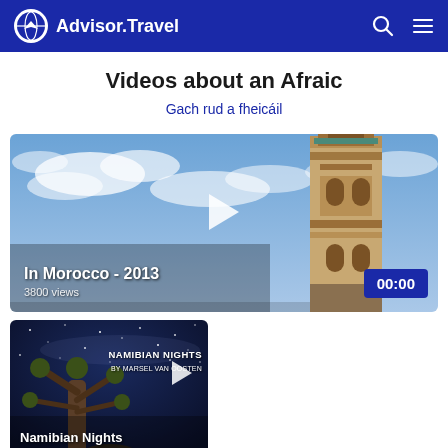Advisor.Travel
Videos about an Afraic
Gach rud a fheicáil
[Figure (screenshot): Video thumbnail of a Moroccan minaret tower against a blue sky with clouds. Title: 'In Morocco - 2013', 3800 views, duration 00:00]
[Figure (screenshot): Video thumbnail of Namibian Nights - a quiver tree under a starry night sky. Title: 'Namibian Nights', 6839 views]